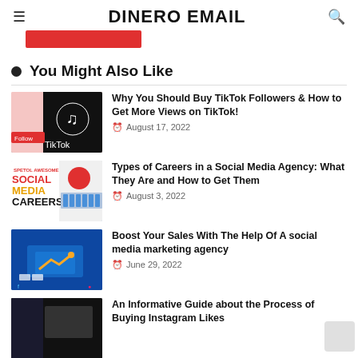DINERO EMAIL
You Might Also Like
Why You Should Buy TikTok Followers & How to Get More Views on TikTok!
August 17, 2022
Types of Careers in a Social Media Agency: What They Are and How to Get Them
August 3, 2022
Boost Your Sales With The Help Of A social media marketing agency
June 29, 2022
An Informative Guide about the Process of Buying Instagram Likes